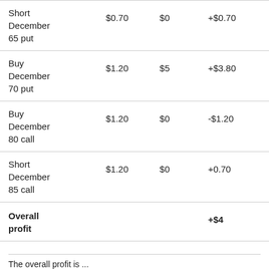|  | Cost | Value at expiration | Profit |
| --- | --- | --- | --- |
| Short December 65 put | $0.70 | $0 | +$0.70 |
| Buy December 70 put | $1.20 | $5 | +$3.80 |
| Buy December 80 call | $1.20 | $0 | -$1.20 |
| Short December 85 call | $1.20 | $0 | +0.70 |
| Overall profit |  |  | +$4 |
The overall profit is ...